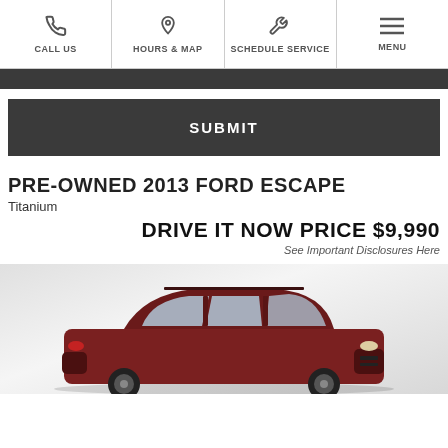CALL US | HOURS & MAP | SCHEDULE SERVICE | MENU
SUBMIT
PRE-OWNED 2013 FORD ESCAPE
Titanium
DRIVE IT NOW PRICE $9,990
See Important Disclosures Here
[Figure (photo): Photo of a dark red/maroon 2013 Ford Escape SUV on a light grey gradient background]